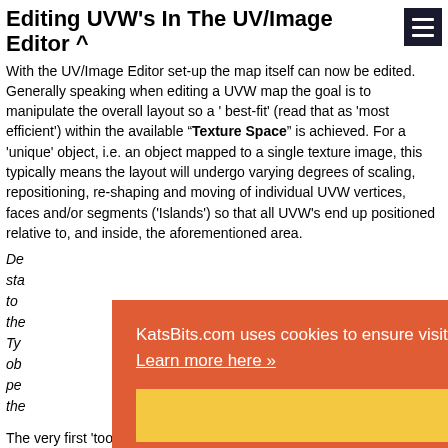Editing UVW's In The UV/Image Editor ^
With the UV/Image Editor set-up the map itself can now be edited. Generally speaking when editing a UVW map the goal is to manipulate the overall layout so a ' best-fit' (read that as 'most efficient') within the available "Texture Space" is achieved. For a 'unique' object, i.e. an object mapped to a single texture image, this typically means the layout will undergo varying degrees of scaling, repositioning, re-shaping and moving of individual UVW vertices, faces and/or segments ('Islands') so that all UVW's end up positioned relative to, and inside, the aforementioned area.
De... sta... to ... the... Ty... ob... pe... the...
[Figure (other): Cookie consent banner overlay with orange background. Text: 'KatsBits.com uses cookies to ensure visitors get the best experience from the site and other services. Learn more here »'. Yellow button below: 'Got it. Thanks!']
The very first 'tool' to make at this stage is to ensure th...